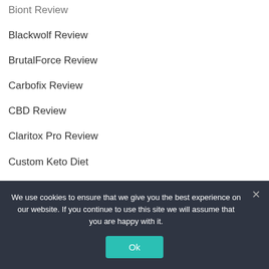Biont Review
Blackwolf Review
BrutalForce Review
Carbofix Review
CBD Review
Claritox Pro Review
Custom Keto Diet
Diet
Exipure
Flat Belly Tonic
We use cookies to ensure that we give you the best experience on our website. If you continue to use this site we will assume that you are happy with it.